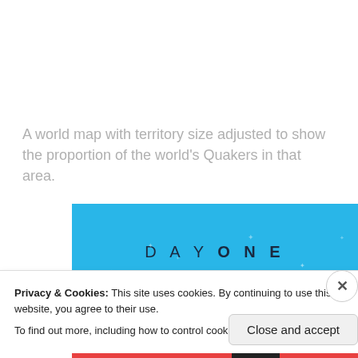A world map with territory size adjusted to show the proportion of the world's Quakers in that area.
[Figure (screenshot): DAY ONE app advertisement banner on a blue background with the text 'DAY ONE - The only journaling app you'll ever need.' with decorative stars]
Privacy & Cookies: This site uses cookies. By continuing to use this website, you agree to their use.
To find out more, including how to control cookies, see here: Cookie Policy
Close and accept